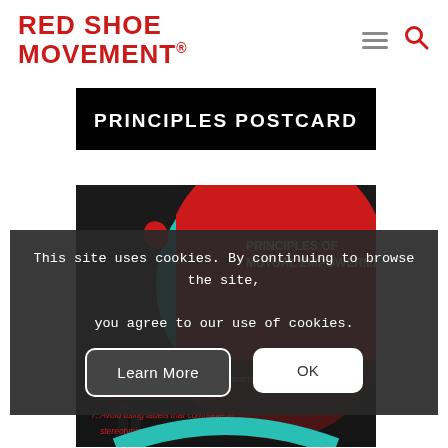RED SHOE MOVEMENT®
PRINCIPLES POSTCARD
[Figure (infographic): Infographic showing '7 Principles of Mutual Empowerment - Red Shoe Movement' with illustrated figures of women and a teal/red circular design. Partially visible list items including: 6. Refrain from bad-mouthing women. 7. Avoid using labels that contribute to stereotyping women.]
This site uses cookies. By continuing to browse the site, you agree to our use of cookies.
Learn More
OK